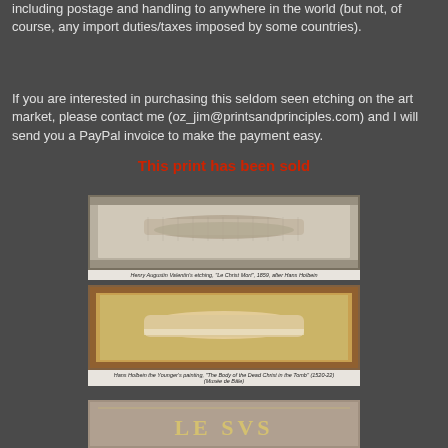including postage and handling to anywhere in the world (but not, of course, any import duties/taxes imposed by some countries).
If you are interested in purchasing this seldom seen etching on the art market, please contact me (oz_jim@printsandprinciples.com) and I will send you a PayPal invoice to make the payment easy.
This print has been sold
[Figure (photo): Henry Augustin Valentin's etching, 'Le Christ Mort', 1859, after Hans Holbein — showing a reclining figure in a stone tomb niche, black and white etching style]
Henry Augustin Valentin's etching, "Le Christ Mort", 1859, after Hans Holbein
[Figure (photo): Hans Holbein the Younger's painting, 'The Body of the Dead Christ in the Tomb' (1520-22) (Musée de Bâle) — showing a reclining figure with warm golden tones in an ornate frame]
Hans Holbein the Younger's painting, "The Body of the Dead Christ in the Tomb" (1520-22) (Musée de Bâle)
[Figure (photo): Partial view of another image showing 'LESVS' text in decorative lettering]